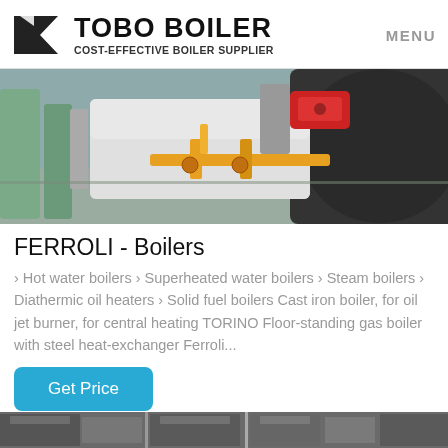TOBO BOILER COST-EFFECTIVE BOILER SUPPLIER | MENU
[Figure (photo): Industrial boiler installation showing a large cylindrical boiler with red burner head, orange/yellow gas pipes and fittings, and auxiliary equipment in a factory setting.]
FERROLI - Boilers
› Hot water boilers › Superheated water boilers › Steam boilers › Diathermic oil heaters › Solid fuel boilers Cast iron boiler, for oil jet burner, for central heating TORINO Floor-standing gas boiler with steel heat-exchanger Ferroli...
[Figure (photo): Partial view of industrial boiler equipment at the bottom strip of the page.]